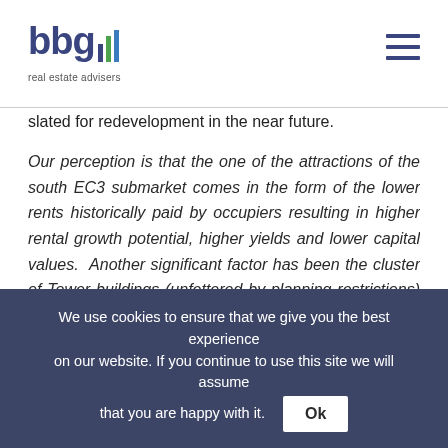bbg real estate advisers
slated for redevelopment in the near future.
Our perception is that the one of the attractions of the south EC3 submarket comes in the form of the lower rents historically paid by occupiers resulting in higher rental growth potential, higher yields and lower capital values.  Another significant factor has been the cluster of Tower buildings (unfettered by planning restrictions) which has resulted in the creation of Trophy assets with worldwide “coffee table” investor appeal.
For many years EC3 laboured under a “Cinderella” inferiority
We use cookies to ensure that we give you the best experience on our website. If you continue to use this site we will assume that you are happy with it. Ok